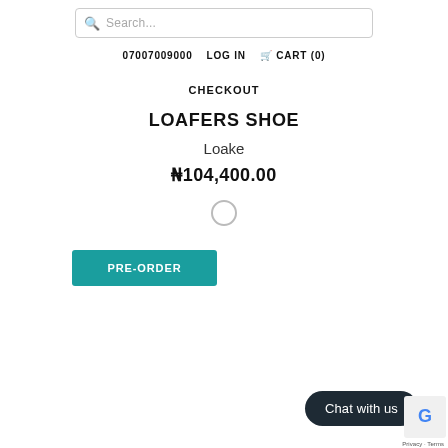[Figure (screenshot): Search bar with magnifying glass icon and placeholder text 'Search...']
07007009000  LOG IN  CART (0)
CHECKOUT
LOAFERS SHOE
Loake
₦104,400.00
[Figure (other): White circular color swatch selector]
[Figure (other): Teal PRE-ORDER button]
[Figure (other): Dark rounded 'Chat with us' button]
[Figure (other): reCAPTCHA logo with Privacy - Terms text]